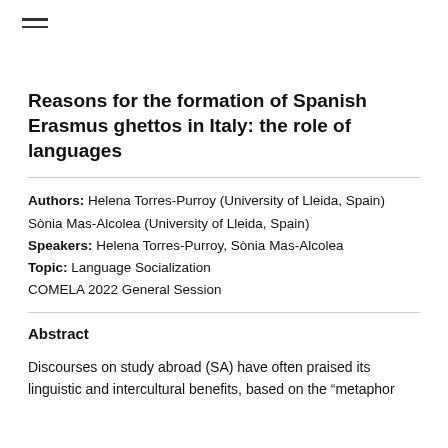Reasons for the formation of Spanish Erasmus ghettos in Italy: the role of languages
Authors: Helena Torres-Purroy (University of Lleida, Spain) Sònia Mas-Alcolea (University of Lleida, Spain) Speakers: Helena Torres-Purroy, Sònia Mas-Alcolea Topic: Language Socialization COMELA 2022 General Session
Abstract
Discourses on study abroad (SA) have often praised its linguistic and intercultural benefits, based on the "metaphor